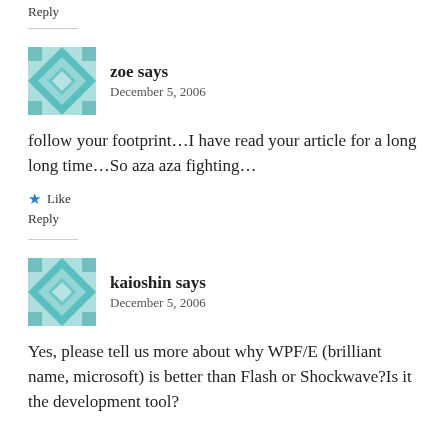Reply
zoe says
December 5, 2006
follow your footprint...I have read your article for a long long time...So aza aza fighting...
Like
Reply
kaioshin says
December 5, 2006
Yes, please tell us more about why WPF/E (brilliant name, microsoft) is better than Flash or Shockwave?Is it the development tool?